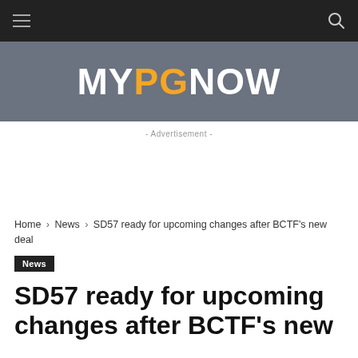MYPGNOW
- Advertisement -
Home › News › SD57 ready for upcoming changes after BCTF's new deal
News
SD57 ready for upcoming changes after BCTF's new